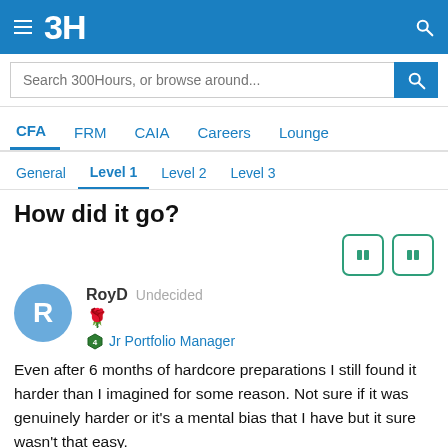3H
Search 300Hours, or browse around...
CFA  FRM  CAIA  Careers  Lounge
General  Level 1  Level 2  Level 3
How did it go?
RoyD  Undecided
Jr Portfolio Manager
Even after 6 months of hardcore preparations I still found it harder than I imagined for some reason. Not sure if it was genuinely harder or it's a mental bias that I have but it sure wasn't that easy.